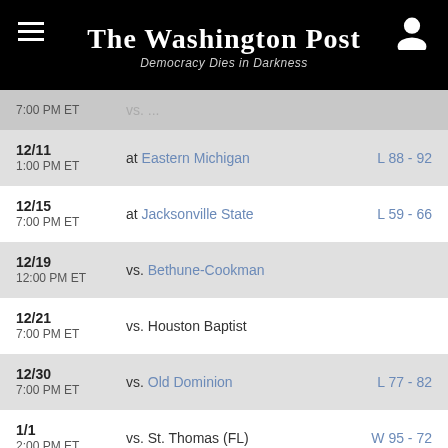The Washington Post — Democracy Dies in Darkness
| Date | Opponent | Result |
| --- | --- | --- |
| 12/11
1:00 PM ET | at Eastern Michigan | L 88 - 92 |
| 12/15
7:00 PM ET | at Jacksonville State | L 59 - 66 |
| 12/19
12:00 PM ET | vs. Bethune-Cookman |  |
| 12/21
7:00 PM ET | vs. Houston Baptist |  |
| 12/30
7:00 PM ET | vs. Old Dominion | L 77 - 82 |
| 1/1
2:00 PM ET | vs. St. Thomas (FL) | W 95 - 72 |